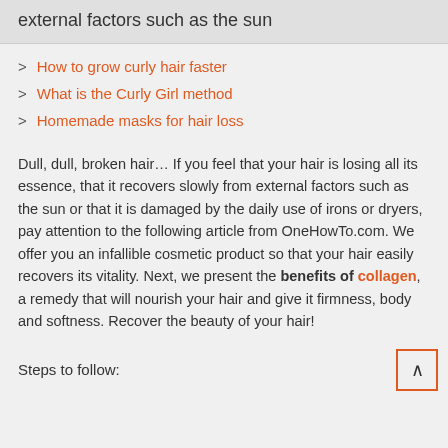external factors such as the sun
How to grow curly hair faster
What is the Curly Girl method
Homemade masks for hair loss
Dull, dull, broken hair… If you feel that your hair is losing all its essence, that it recovers slowly from external factors such as the sun or that it is damaged by the daily use of irons or dryers, pay attention to the following article from OneHowTo.com. We offer you an infallible cosmetic product so that your hair easily recovers its vitality. Next, we present the benefits of collagen, a remedy that will nourish your hair and give it firmness, body and softness. Recover the beauty of your hair!
Steps to follow: